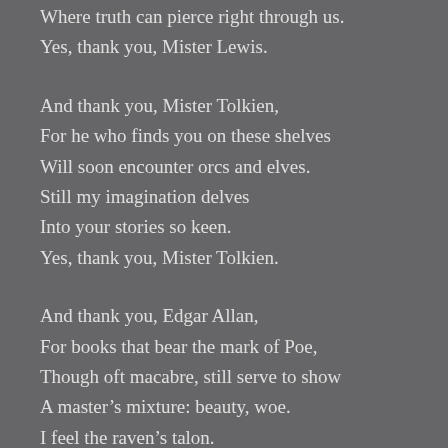Where truth can pierce right through us.
Yes, thank you, Mister Lewis.
And thank you, Mister Tolkien,
For he who finds you on these shelves
Will soon encounter orcs and elves.
Still my imagination delves
Into your stories so keen.
Yes, thank you, Mister Tolkien.
And thank you, Edgar Allan,
For books that bear the mark of Poe,
Though oft macabre, still serve to show
A master's mixture: beauty, woe.
I feel the raven's talon.
Yes, thank you, Edgar Allan.